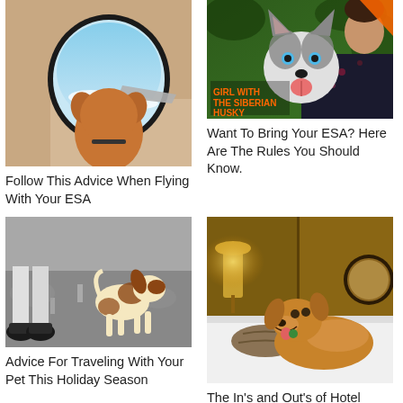[Figure (photo): Dog looking out airplane window from inside a plane cabin, blue sky visible, warm orange fur dog from behind]
Follow This Advice When Flying With Your ESA
[Figure (photo): Girl holding a Siberian Husky dog, orange text overlay reading GIRL WITH THE SIBERIAN HUSKY]
Want To Bring Your ESA? Here Are The Rules You Should Know.
[Figure (photo): Black and white photo of a small dog walking on a road, person's legs in sneakers visible]
Advice For Traveling With Your Pet This Holiday Season
[Figure (photo): Dog and cat lying together on a hotel bed, warm hotel room with lamps and wood paneling]
The In's and Out's of Hotel Policies & Emotional